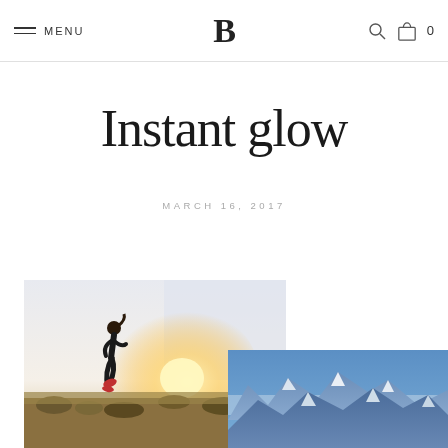MENU | B | 0
Instant glow
MARCH 16, 2017
[Figure (photo): Woman running outdoors at golden hour with sun flare behind rocky landscape]
[Figure (photo): Snow-capped mountain range under blue sky]